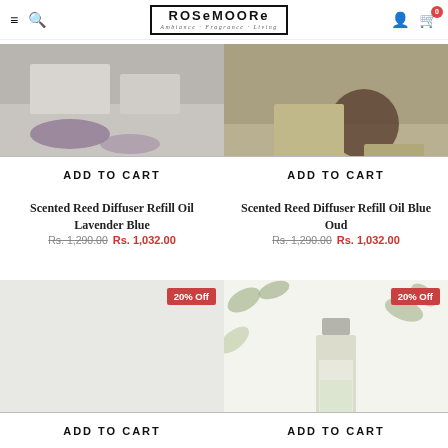ROSeMOORe — Ambiance · Fragrance · Living
[Figure (photo): Product image of Scented Reed Diffuser Refill Oil Lavender Blue with Add to Cart button overlay]
Scented Reed Diffuser Refill Oil Lavender Blue
Rs. 1,290.00  Rs. 1,032.00
[Figure (photo): Product image of Scented Reed Diffuser Refill Oil Blue Oud with Add to Cart button overlay]
Scented Reed Diffuser Refill Oil Blue Oud
Rs. 1,290.00  Rs. 1,032.00
[Figure (photo): Product with 20% Off badge - left product, Add to Cart button at bottom]
[Figure (photo): Product with 20% Off badge - perfume bottle with leaves background, Add to Cart button at bottom]